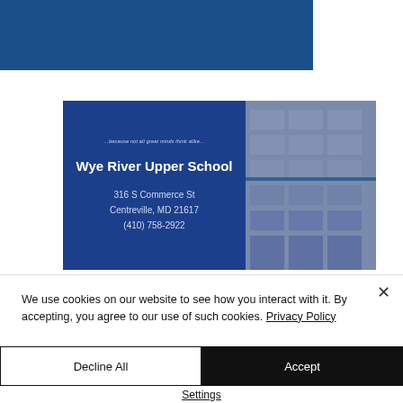[Figure (screenshot): Screenshot of Wye River Upper School website showing school name, address, and contact information on a dark blue card with a building photo on the right. Top portion shows a blue navigation bar.]
We use cookies on our website to see how you interact with it. By accepting, you agree to our use of such cookies. Privacy Policy
Decline All
Accept
Settings